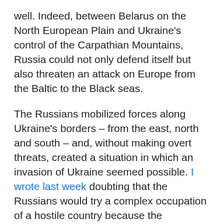well. Indeed, between Belarus on the North European Plain and Ukraine's control of the Carpathian Mountains, Russia could not only defend itself but also threaten an attack on Europe from the Baltic to the Black seas.
The Russians mobilized forces along Ukraine's borders – from the east, north and south – and, without making overt threats, created a situation in which an invasion of Ukraine seemed possible. I wrote last week doubting that the Russians would try a complex occupation of a hostile country because the possibilities of failure, even against minimal resistance, were real and because the Russians could not predict American actions. If it intervened, the U.S. would likely intervene on land, but it also possesses arsenals of anti-tank missiles